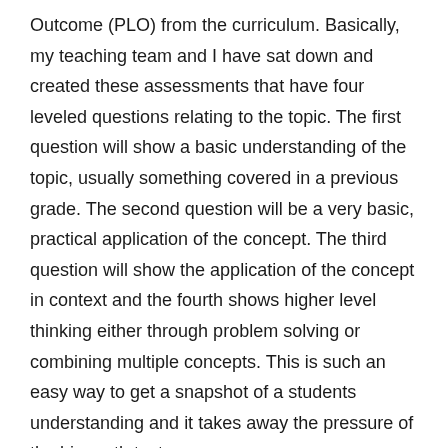Outcome (PLO) from the curriculum. Basically, my teaching team and I have sat down and created these assessments that have four leveled questions relating to the topic. The first question will show a basic understanding of the topic, usually something covered in a previous grade. The second question will be a very basic, practical application of the concept. The third question will show the application of the concept in context and the fourth shows higher level thinking either through problem solving or combining multiple concepts. This is such an easy way to get a snapshot of a students understanding and it takes away the pressure of the big math test.
Unit Plan and Assignments
When I go to plan a unit I usually look back at the curriculum from grade 6 to remind myself the basics that